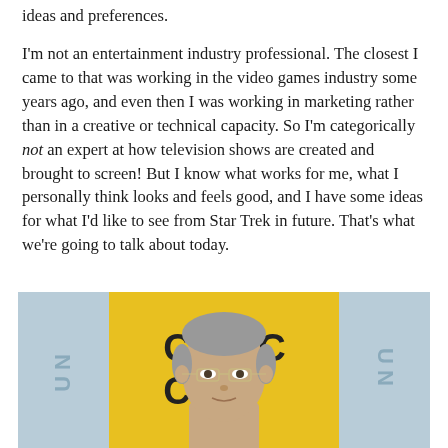ideas and preferences.
I'm not an entertainment industry professional. The closest I came to that was working in the video games industry some years ago, and even then I was working in marketing rather than in a creative or technical capacity. So I'm categorically not an expert at how television shows are created and brought to screen! But I know what works for me, what I personally think looks and feels good, and I have some ideas for what I'd like to see from Star Trek in future. That's what we're going to talk about today.
[Figure (photo): A man with grey hair and glasses photographed at what appears to be a San Diego Comic-Con event, with the yellow Comic-Con logo visible in the background.]